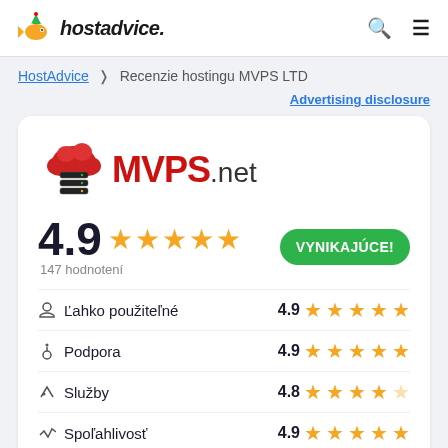hostadvice.
HostAdvice > Recenzie hostingu MVPS LTD
Advertising disclosure
[Figure (logo): MVPS.net logo with red cloud and server rack icon]
4.9 ★★★★★ 147 hodnotení VYNIKAJÚCE!
Ľahko použiteľné 4.9 ★★★★★
Podpora 4.9 ★★★★★
Služby 4.8 ★★★★☆
Spoľahlivosť 4.9 ★★★★★